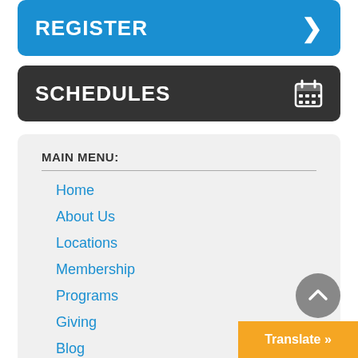[Figure (screenshot): Blue rounded button with white bold text REGISTER and a right-pointing chevron arrow on the right]
[Figure (screenshot): Dark gray rounded button with white bold text SCHEDULES and a calendar icon on the right]
MAIN MENU:
Home
About Us
Locations
Membership
Programs
Giving
Blog
Contact Us